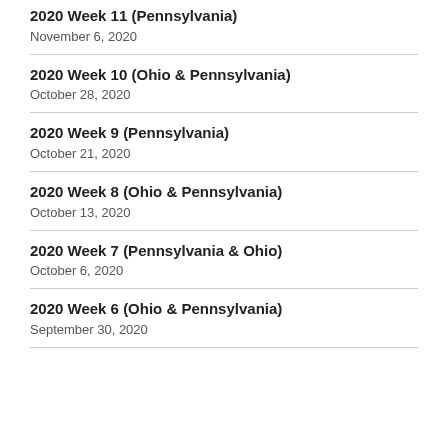2020 Week 11 (Pennsylvania)
November 6, 2020
2020 Week 10 (Ohio & Pennsylvania)
October 28, 2020
2020 Week 9 (Pennsylvania)
October 21, 2020
2020 Week 8 (Ohio & Pennsylvania)
October 13, 2020
2020 Week 7 (Pennsylvania & Ohio)
October 6, 2020
2020 Week 6 (Ohio & Pennsylvania)
September 30, 2020